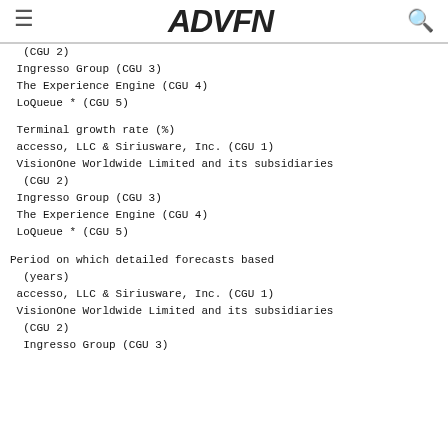ADVFN
(CGU 2)
Ingresso Group (CGU 3)
The Experience Engine (CGU 4)
LoQueue * (CGU 5)
Terminal growth rate (%)
accesso, LLC & Siriusware, Inc. (CGU 1)
VisionOne Worldwide Limited and its subsidiaries (CGU 2)
Ingresso Group (CGU 3)
The Experience Engine (CGU 4)
LoQueue * (CGU 5)
Period on which detailed forecasts based (years)
accesso, LLC & Siriusware, Inc. (CGU 1)
VisionOne Worldwide Limited and its subsidiaries (CGU 2)
Ingresso Group (CGU 3)